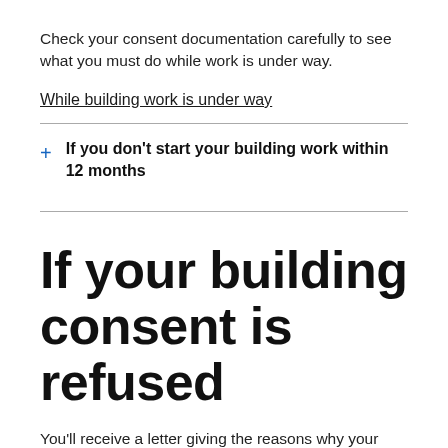Check your consent documentation carefully to see what you must do while work is under way.
While building work is under way
If you don't start your building work within 12 months
If your building consent is refused
You'll receive a letter giving the reasons why your